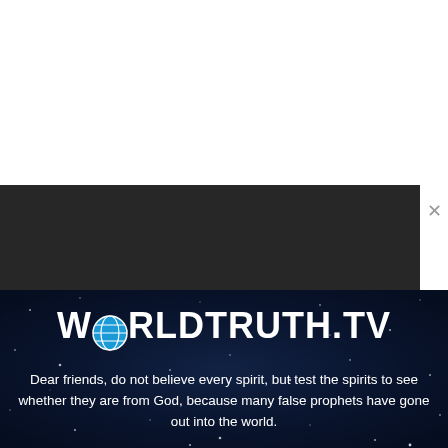[Figure (screenshot): White top area representing browser/app white space above video player]
[Figure (screenshot): Dark/black video player area with a close (X) button in upper right corner]
[Figure (logo): WorldTruth.TV logo in white bold text with a globe icon replacing the letter O, on a dark navy starry background]
Dear friends, do not believe every spirit, but test the spirits to see whether they are from God, because many false prophets have gone out into the world.